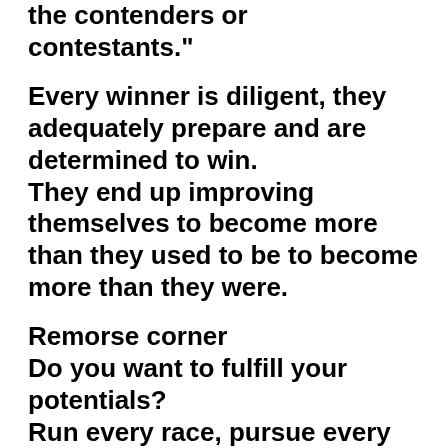the contenders or contestants."
Every winner is diligent, they adequately prepare and are determined to win. They end up improving themselves to become more than they used to be to become more than they were.
Remorse corner
Do you want to fulfill your potentials? Run every race, pursue every vision with every mind to succeed. Set your heart to succeed. 1 Corinthians 9:24 Do you not